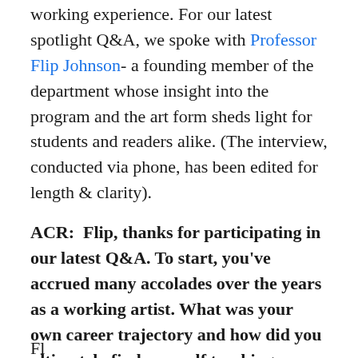working experience. For our latest spotlight Q&A, we spoke with Professor Flip Johnson- a founding member of the department whose insight into the program and the art form sheds light for students and readers alike. (The interview, conducted via phone, has been edited for length & clarity).
ACR:  Flip, thanks for participating in our latest Q&A. To start, you've accrued many accolades over the years as a working artist. What was your own career trajectory and how did you ultimately find yourself teaching animation at MassArt?
Fl...